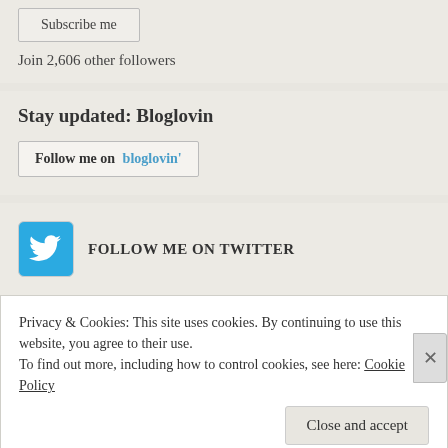[Figure (screenshot): Subscribe me button widget area]
Join 2,606 other followers
Stay updated: Bloglovin
[Figure (screenshot): Follow me on bloglovin' button]
[Figure (screenshot): Twitter bird icon with FOLLOW ME ON TWITTER label]
Privacy & Cookies: This site uses cookies. By continuing to use this website, you agree to their use.
To find out more, including how to control cookies, see here: Cookie Policy
Close and accept
BLOG AT WORDPRESS.COM.